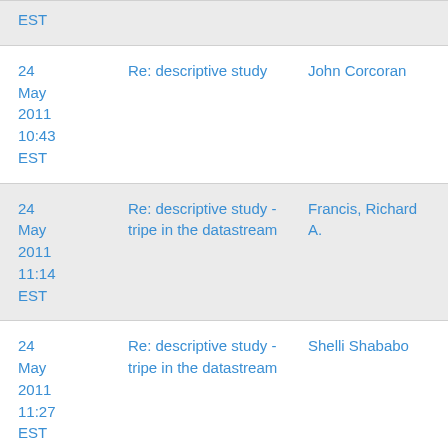| Date | Subject | Sender |
| --- | --- | --- |
| EST |  |  |
| 24 May 2011 10:43 EST | Re: descriptive study | John Corcoran |
| 24 May 2011 11:14 EST | Re: descriptive study - tripe in the datastream | Francis, Richard A. |
| 24 May 2011 11:27 EST | Re: descriptive study - tripe in the datastream | Shelli Shababo |